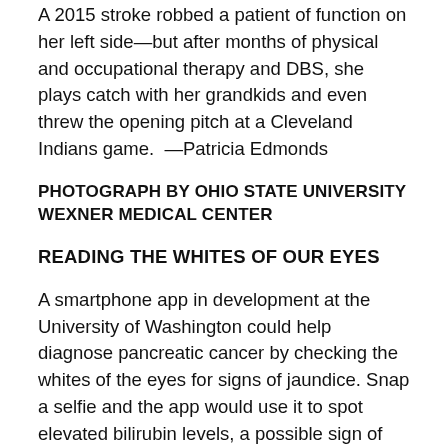A 2015 stroke robbed a patient of function on her left side—but after months of physical and occupational therapy and DBS, she plays catch with her grandkids and even threw the opening pitch at a Cleveland Indians game.  —Patricia Edmonds
PHOTOGRAPH BY OHIO STATE UNIVERSITY WEXNER MEDICAL CENTER
READING THE WHITES OF OUR EYES
A smartphone app in development at the University of Washington could help diagnose pancreatic cancer by checking the whites of the eyes for signs of jaundice. Snap a selfie and the app would use it to spot elevated bilirubin levels, a possible sign of the disease.  —Lori Cuthbert
PHOTOGRAPH BY REBECCA HALE